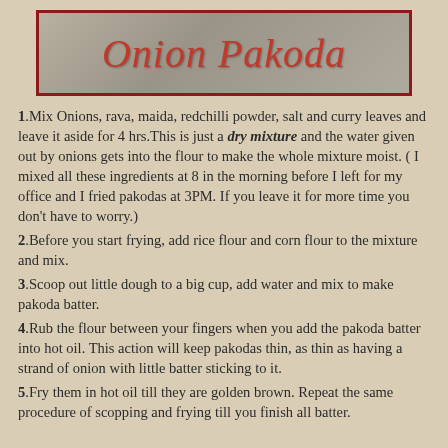Onion Pakoda
1. Mix Onions, rava, maida, redchilli powder, salt and curry leaves and leave it aside for 4 hrs. This is just a dry mixture and the water given out by onions gets into the flour to make the whole mixture moist. ( I mixed all these ingredients at 8 in the morning before I left for my office and I fried pakodas at 3PM. If you leave it for more time you don't have to worry.)
2. Before you start frying, add rice flour and corn flour to the mixture and mix.
3. Scoop out little dough to a big cup, add water and mix to make pakoda batter.
4. Rub the flour between your fingers when you add the pakoda batter into hot oil. This action will keep pakodas thin, as thin as having a strand of onion with little batter sticking to it.
5. Fry them in hot oil till they are golden brown. Repeat the same procedure of scopping and frying till you finish all batter.